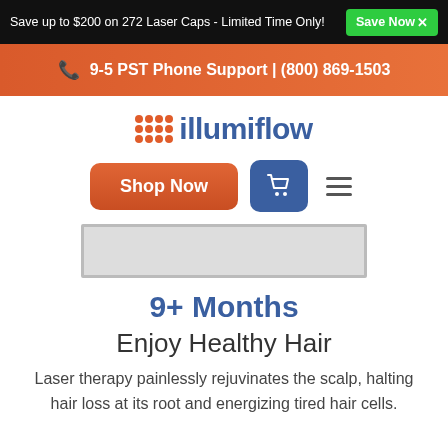Save up to $200 on 272 Laser Caps - Limited Time Only! Save Now
9-5 PST Phone Support | (800) 869-1503
[Figure (logo): illumiflow brand logo with orange dot grid and blue text]
Shop Now
[Figure (other): Gray rectangular image placeholder box]
9+ Months
Enjoy Healthy Hair
Laser therapy painlessly rejuvinates the scalp, halting hair loss at its root and energizing tired hair cells.